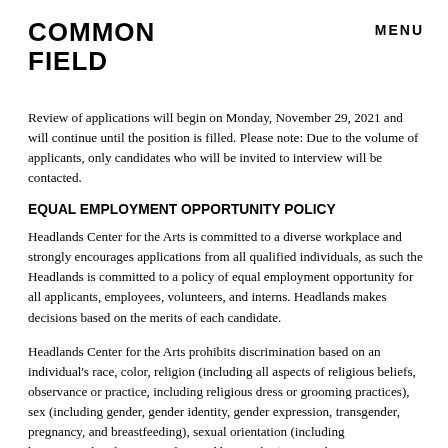COMMON FIELD
MENU
Review of applications will begin on Monday, November 29, 2021 and will continue until the position is filled. Please note: Due to the volume of applicants, only candidates who will be invited to interview will be contacted.
EQUAL EMPLOYMENT OPPORTUNITY POLICY
Headlands Center for the Arts is committed to a diverse workplace and strongly encourages applications from all qualified individuals, as such the Headlands is committed to a policy of equal employment opportunity for all applicants, employees, volunteers, and interns. Headlands makes decisions based on the merits of each candidate.
Headlands Center for the Arts prohibits discrimination based on an individual's race, color, religion (including all aspects of religious beliefs, observance or practice, including religious dress or grooming practices), sex (including gender, gender identity, gender expression, transgender, pregnancy, and breastfeeding), sexual orientation (including heterosexuality, homosexuality, and bisexuality) national origin, ancestry, citizenship status, age, marital status or registered domestic partner status, uniformed service member or veteran status, physical or mental disability, medical condition, genetic characteristics,